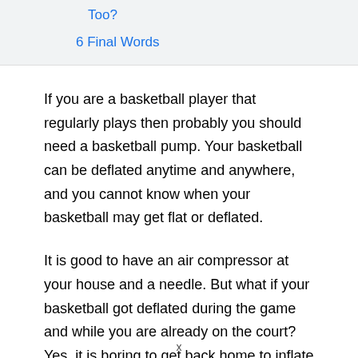Too?
6 Final Words
If you are a basketball player that regularly plays then probably you should need a basketball pump. Your basketball can be deflated anytime and anywhere, and you cannot know when your basketball may get flat or deflated.
It is good to have an air compressor at your house and a needle. But what if your basketball got deflated during the game and while you are already on the court? Yes, it is boring to get back home to inflate your basketball